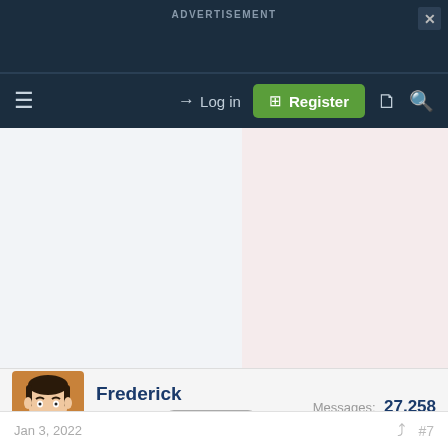ADVERTISEMENT
Log in
Register
Frederick
Moderator  Staff member
Messages: 27,258
Jan 3, 2022  #7